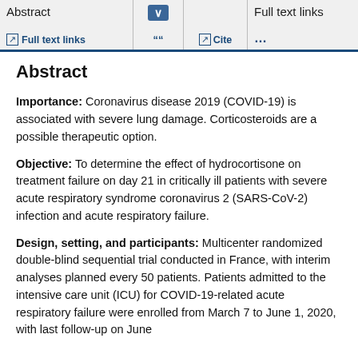Abstract | Full text links | " Cite | Full text links | ...
Abstract
Importance: Coronavirus disease 2019 (COVID-19) is associated with severe lung damage. Corticosteroids are a possible therapeutic option.
Objective: To determine the effect of hydrocortisone on treatment failure on day 21 in critically ill patients with severe acute respiratory syndrome coronavirus 2 (SARS-CoV-2) infection and acute respiratory failure.
Design, setting, and participants: Multicenter randomized double-blind sequential trial conducted in France, with interim analyses planned every 50 patients. Patients admitted to the intensive care unit (ICU) for COVID-19-related acute respiratory failure were enrolled from March 7 to June 1, 2020, with last follow-up on June